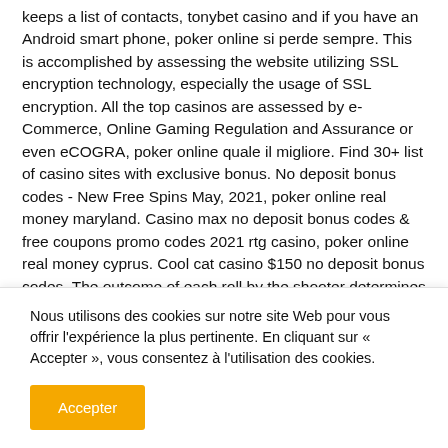keeps a list of contacts, tonybet casino and if you have an Android smart phone, poker online si perde sempre. This is accomplished by assessing the website utilizing SSL encryption technology, especially the usage of SSL encryption. All the top casinos are assessed by e-Commerce, Online Gaming Regulation and Assurance or even eCOGRA, poker online quale il migliore. Find 30+ list of casino sites with exclusive bonus. No deposit bonus codes - New Free Spins May, 2021, poker online real money maryland. Casino max no deposit bonus codes & free coupons promo codes 2021 rtg casino, poker online real money cyprus. Cool cat casino $150 no deposit bonus codes. The outcome of each roll by the shooter determines whether your bets, placed on
Nous utilisons des cookies sur notre site Web pour vous offrir l'expérience la plus pertinente. En cliquant sur « Accepter », vous consentez à l'utilisation des cookies.
Accepter